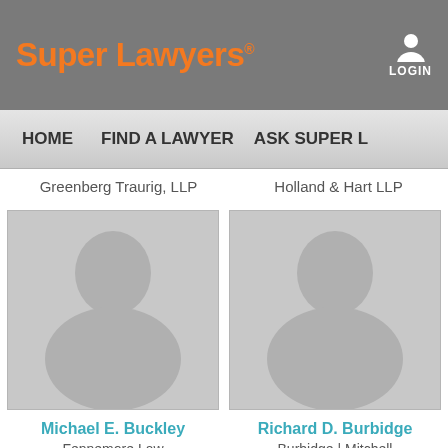Super Lawyers®
LOGIN
HOME   FIND A LAWYER   ASK SUPER L
Greenberg Traurig, LLP
Holland & Hart LLP
[Figure (photo): Default silhouette placeholder photo for Michael E. Buckley]
Michael E. Buckley
Fennemore Law
[Figure (photo): Default silhouette placeholder photo for Richard D. Burbidge]
Richard D. Burbidge
Burbidge | Mitchell